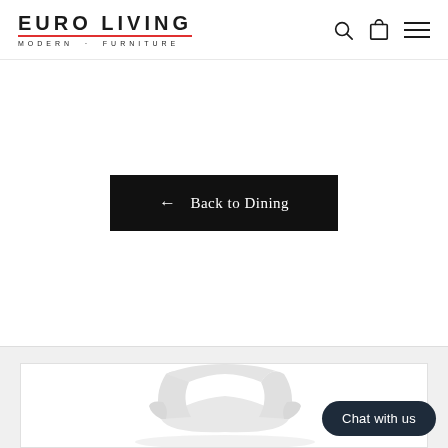EURO LIVING · MODERN · FURNITURE
← Back to Dining
[Figure (photo): White modern armchair product image at bottom of page]
Chat with us